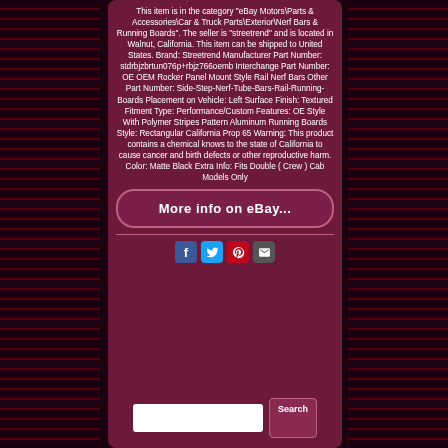This item is in the category "eBay Motors\Parts & Accessories\Car & Truck Parts\Exterior\Nerf Bars & Running Boards". The seller is "streetrend" and is located in Walnut, California. This item can be shipped to United States. Brand: Streetrend Manufacturer Part Number: stdrbjzbrtun076p+rbjz766oemb Interchange Part Number: OE OEM Rocker Panel Mount Style Rail Nerf Bars Other Part Number: Side-Step-Nerf-Tube-Bars-Rail-Running-Boards Placement on Vehicle: Left Surface Finish: Textured Fitment Type: Performance/Custom Features: OE Style With Polymer Stripes Pattern Aluminum Running Boards Style: Rectangular California Prop 65 Warning: This product contains a chemical knows to the state of California to cause cancer and birth defects or other reproductive harm. Color: Matte Black Extra Info: Fits Double ( Crew ) Cab Models Only
[Figure (other): Button linking to more info on eBay]
[Figure (other): Social media icons: Facebook, Twitter, Pinterest, Email]